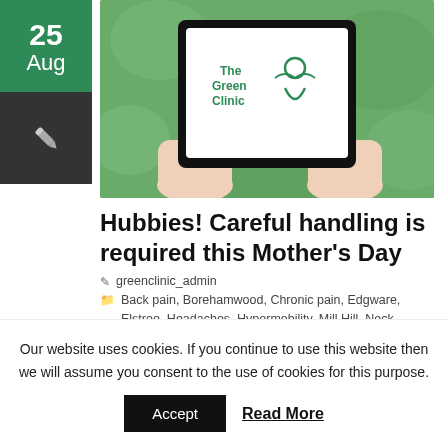[Figure (other): Green date box showing 'Aug' month label with number above (partially cropped), below is a dark grey box with a pencil/edit icon]
[Figure (photo): Hands holding a tablet/iPad displaying The Green Clinic logo against a green bokeh background]
Hubbies! Careful handling is required this Mother's Day
greenclinic_admin
Back pain, Borehamwood, Chronic pain, Edgware, Elstree, Headaches, Hypermobility, Mill Hill, Neck
Our website uses cookies. If you continue to use this website then we will assume you consent to the use of cookies for this purpose.
Accept   Read More